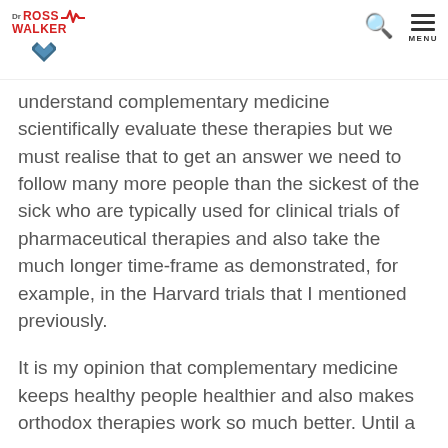Dr Ross Walker | Logo and navigation
understand complementary medicine scientifically evaluate these therapies but we must realise that to get an answer we need to follow many more people than the sickest of the sick who are typically used for clinical trials of pharmaceutical therapies and also take the much longer time-frame as demonstrated, for example, in the Harvard trials that I mentioned previously.
It is my opinion that complementary medicine keeps healthy people healthier and also makes orthodox therapies work so much better. Until a